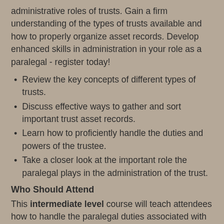administrative roles of trusts. Gain a firm understanding of the types of trusts available and how to properly organize asset records. Develop enhanced skills in administration in your role as a paralegal - register today!
Review the key concepts of different types of trusts.
Discuss effective ways to gather and sort important trust asset records.
Learn how to proficiently handle the duties and powers of the trustee.
Take a closer look at the important role the paralegal plays in the administration of the trust.
Who Should Attend
This intermediate level course will teach attendees how to handle the paralegal duties associated with trust administration. Those who should attend include:
Paralegals
Legal Technicians
Legal Assistants